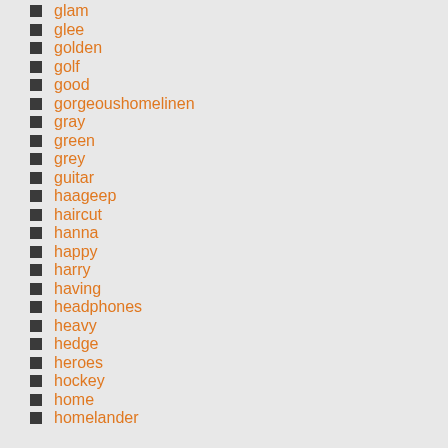glam
glee
golden
golf
good
gorgeoushomelinen
gray
green
grey
guitar
haageep
haircut
hanna
happy
harry
having
headphones
heavy
hedge
heroes
hockey
home
homelander